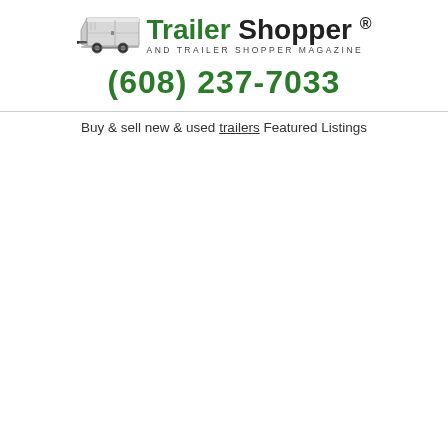[Figure (logo): Trailer Shopper logo with enclosed trailer image, brand name 'Trailer Shopper®' in green and black, tagline 'and Trailer Shopper Magazine', and phone number (608) 237-7033 in green]
Buy & sell new & used trailers Featured Listings